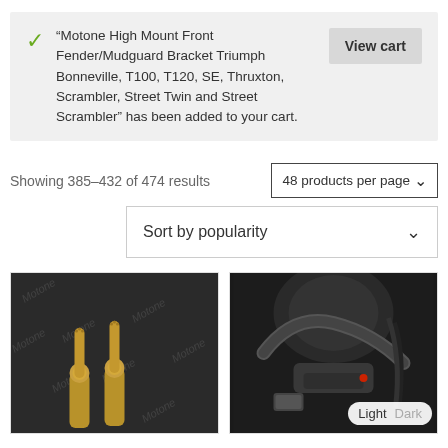“Motone High Mount Front Fender/Mudguard Bracket Triumph Bonneville, T100, T120, SE, Thruxton, Scrambler, Street Twin and Street Scrambler” has been added to your cart.
View cart
Showing 385–432 of 474 results
48 products per page
Sort by popularity
[Figure (photo): Two gold/brass colored cylindrical bar end weights on a dark branded background]
[Figure (photo): Close-up of motorcycle engine and exhaust components in black, with a light/dark theme toggle overlay]